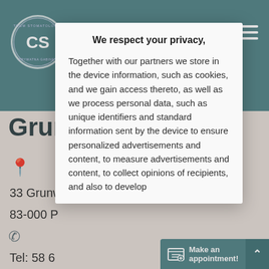[Figure (screenshot): Screenshot of a dental clinic website (Centrum Stomatologiczne CS Grunwaldzka) with a cookie/privacy consent modal overlay. The background shows a teal header bar with the CS logo circle, partial site title 'Grunw...', a location pin icon, partial address lines '33 Grunw...', '83-000 P...', a phone icon, partial telephone lines 'Tel: 58...', 'Tel: 58...', 'Tel: 668...', an envelope icon, and partial email 'rejestracja@cs-grunwaldzka.com'. A 'Make an appointment!' button is visible at the bottom right. Overlaying the page is a white modal card with the title 'We respect your privacy,' and body text about data storage and personalized advertising.]
We respect your privacy,
Together with our partners we store in the device information, such as cookies, and we gain access thereto, as well as we process personal data, such as unique identifiers and standard information sent by the device to ensure personalized advertisements and content, to measure advertisements and content, to collect opinions of recipients, and also to develop